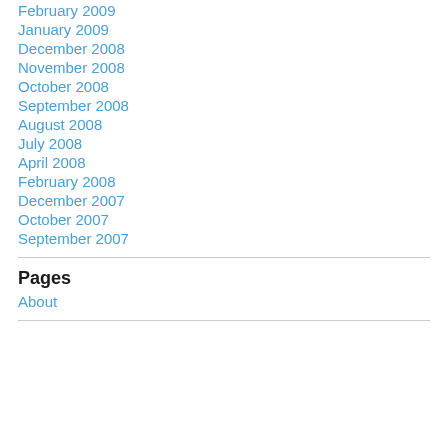February 2009
January 2009
December 2008
November 2008
October 2008
September 2008
August 2008
July 2008
April 2008
February 2008
December 2007
October 2007
September 2007
Pages
About